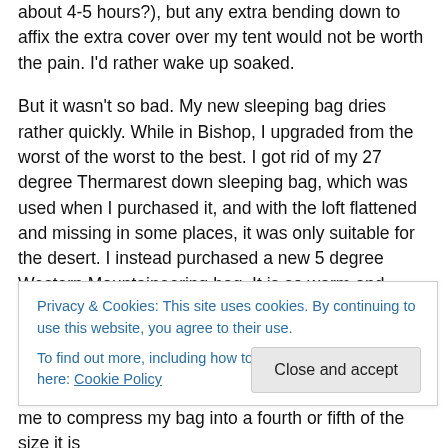about 4-5 hours?), but any extra bending down to affix the extra cover over my tent would not be worth the pain. I'd rather wake up soaked.
But it wasn't so bad. My new sleeping bag dries rather quickly. While in Bishop, I upgraded from the worst of the worst to the best. I got rid of my 27 degree Thermarest down sleeping bag, which was used when I purchased it, and with the loft flattened and missing in some places, it was only suitable for the desert. I instead purchased a new 5 degree Western Mountaineering bag. It is so warm and wonderful and lofty! It was actually rather difficult to
Privacy & Cookies: This site uses cookies. By continuing to use this website, you agree to their use.
To find out more, including how to control cookies, see here: Cookie Policy
me to compress my bag into a fourth or fifth of the size it is